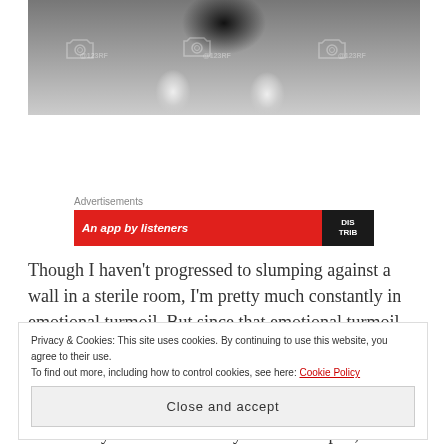[Figure (photo): Black and white photo showing a person's lower body/legs slumping against a wall in a sterile room, with 123RF watermarks visible]
Advertisements
[Figure (screenshot): Red advertisement banner with white bold italic text 'An app by listeners' and a dark logo block on the right]
Though I haven't progressed to slumping against a wall in a sterile room, I'm pretty much constantly in emotional turmoil. But since that emotional turmoil
Privacy & Cookies: This site uses cookies. By continuing to use this website, you agree to their use.
To find out more, including how to control cookies, see here: Cookie Policy
Close and accept
as I usually am when I finally find a therapist, so it